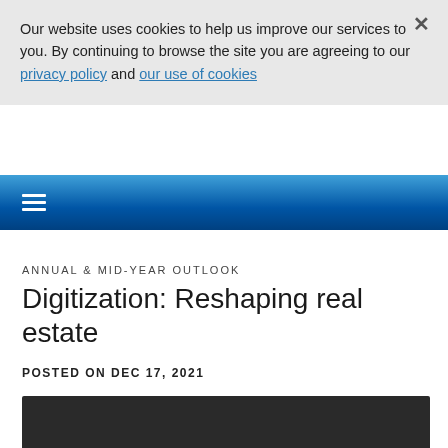Our website uses cookies to help us improve our services to you. By continuing to browse the site you are agreeing to our privacy policy and our use of cookies
ANNUAL & MID-YEAR OUTLOOK
Digitization: Reshaping real estate
POSTED ON DEC 17, 2021
[Figure (photo): Dark image placeholder at the bottom of the page]